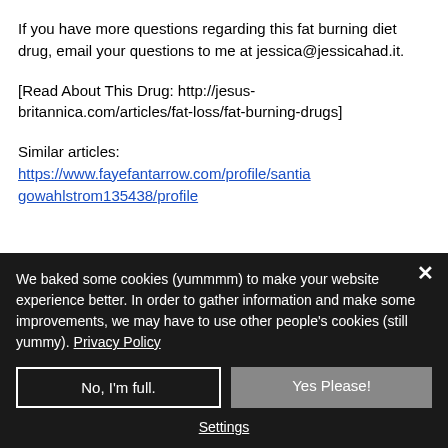If you have more questions regarding this fat burning diet drug, email your questions to me at jessica@jessicahad.it.
[Read About This Drug: http://jesus-britannica.com/articles/fat-loss/fat-burning-drugs]
Similar articles:
https://www.fayefantarrow.com/profile/santiagowahlstrom135438/profile
We baked some cookies (yummmm) to make your website experience better. In order to gather information and make some improvements, we may have to use other people's cookies (still yummy). Privacy Policy